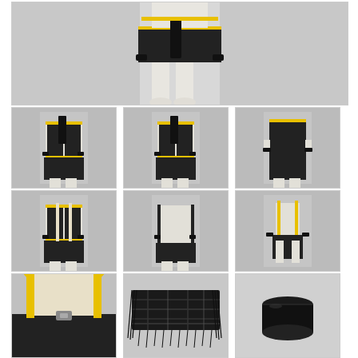[Figure (photo): Large photo of a costume displayed on a mannequin torso/legs, featuring a black and yellow outfit with white tights/boots, shot against a grey background.]
[Figure (photo): Front view of full costume on child mannequin — black vest with yellow trim, dark skirt, black scarf, white stockings, black wrist bands.]
[Figure (photo): Slightly angled front view of same costume on child mannequin.]
[Figure (photo): Back/side view of same costume on child mannequin.]
[Figure (photo): Front view of costume without scarf on child mannequin.]
[Figure (photo): Back view of costume without scarf on child mannequin.]
[Figure (photo): Side view of costume with white pants visible on child mannequin.]
[Figure (photo): Close-up of waist/belt area showing yellow trim and buckle detail.]
[Figure (photo): Black plaid/tartan scarf with fringe laid flat.]
[Figure (photo): Black cylindrical wristband/cuff accessory.]